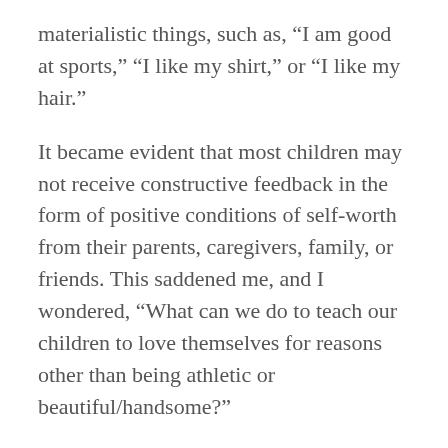materialistic things, such as, “I am good at sports,” “I like my shirt,” or “I like my hair.”
It became evident that most children may not receive constructive feedback in the form of positive conditions of self-worth from their parents, caregivers, family, or friends. This saddened me, and I wondered, “What can we do to teach our children to love themselves for reasons other than being athletic or beautiful/handsome?”
As imperative as this is for parents and caregivers to understand and practice, it is equally as important for school staff to instill these skills in our children, as we